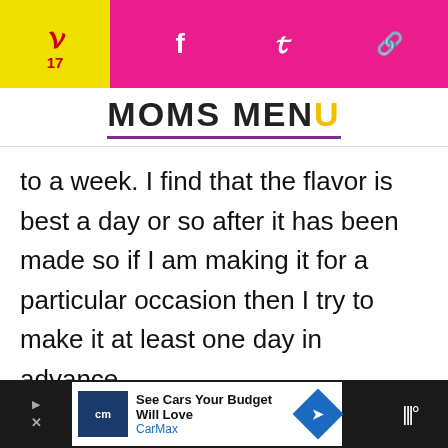MOMS MENU
to a week. I find that the flavor is best a day or so after it has been made so if I am making it for a particular occasion then I try to make it at least one day in advance.
I do not suggest freezing this
[Figure (screenshot): CarMax advertisement banner: 'See Cars Your Budget Will Love / CarMax' with logo and arrow icon]